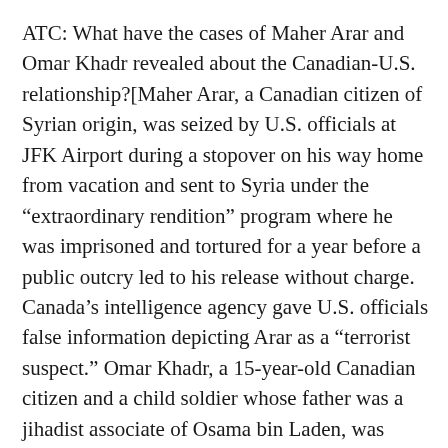ATC: What have the cases of Maher Arar and Omar Khadr revealed about the Canadian-U.S. relationship?[Maher Arar, a Canadian citizen of Syrian origin, was seized by U.S. officials at JFK Airport during a stopover on his way home from vacation and sent to Syria under the “extraordinary rendition” program where he was imprisoned and tortured for a year before a public outcry led to his release without charge. Canada’s intelligence agency gave U.S. officials false information depicting Arar as a “terrorist suspect.” Omar Khadr, a 15-year-old Canadian citizen and a child soldier whose father was a jihadist associate of Osama bin Laden, was captured in a firefight in Afghanistan and spent eight years under physical and psychological abuse at Guantanamo before finally being tried and sentenced to spend another eight years in prison. The Canadian government ignored a court ruling that ordered it to seek his return to Canada.]